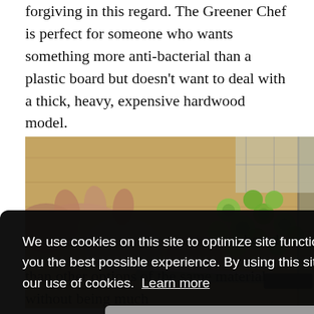forgiving in this regard. The Greener Chef is perfect for someone who wants something more anti-bacterial than a plastic board but doesn't want to deal with a thick, heavy, expensive hardwood model.
[Figure (photo): Hands chopping green vegetables (Brussels sprouts or similar) on a wooden cutting board with a knife]
We use cookies on this site to optimize site functionality and give you the best possible experience. By using this site, you accept our use of cookies. Learn more
Got it!
board
tter
than other options of the same material without being much